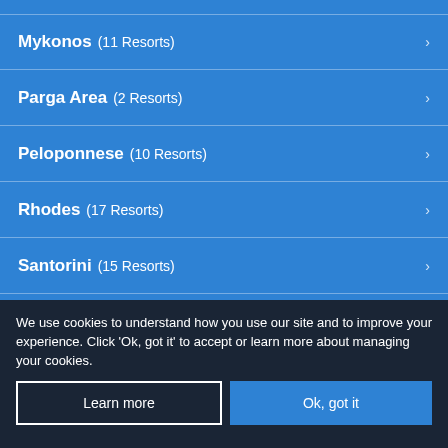Mykonos (11 Resorts)
Parga Area (2 Resorts)
Peloponnese (10 Resorts)
Rhodes (17 Resorts)
Santorini (15 Resorts)
Skiathos (12 Resorts)
We use cookies to understand how you use our site and to improve your experience. Click 'Ok, got it' to accept or learn more about managing your cookies.
Learn more
Ok, got it